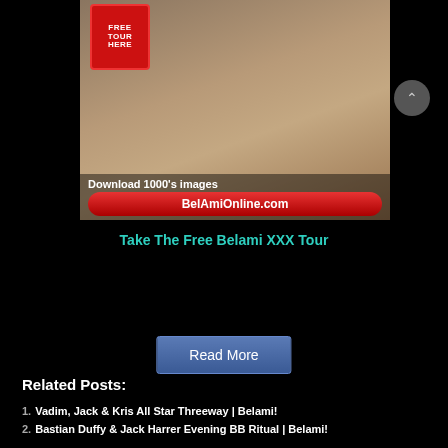[Figure (photo): Adult content banner advertisement for BelAmiOnline.com with 'FREE TOUR HERE' badge and 'Download 1000s images' text overlay]
Take The Free Belami XXX Tour
Read More
Related Posts:
Vadim, Jack & Kris All Star Threeway | Belami!
Bastian Duffy & Jack Harrer Evening BB Ritual | Belami!